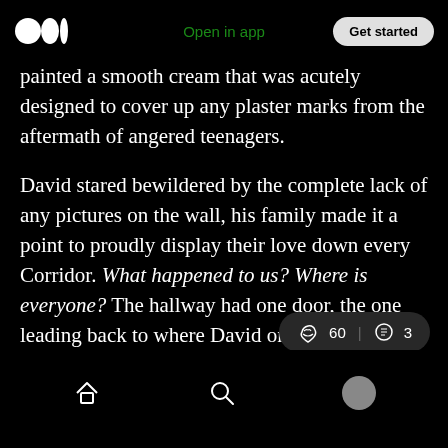Medium logo | Open in app | Get started
painted a smooth cream that was acutely designed to cover up any plaster marks from the aftermath of angered teenagers.
David stared bewildered by the complete lack of any pictures on the wall, his family made it a point to proudly display their love down every Corridor. What happened to us? Where is everyone? The hallway had one door, the one leading back to where David once came. A dead end. Suddenly, the door behind David slammed with the bang of an artillery shell
60 claps | 3 comments | Home | Search | Profile